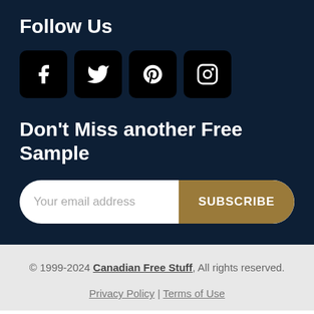Follow Us
[Figure (illustration): Social media icons: Facebook, Twitter, Pinterest, Instagram — white icons on black rounded squares]
Don't Miss another Free Sample
Your email address [input field] SUBSCRIBE [button]
© 1999-2024 Canadian Free Stuff, All rights reserved.
Privacy Policy | Terms of Use